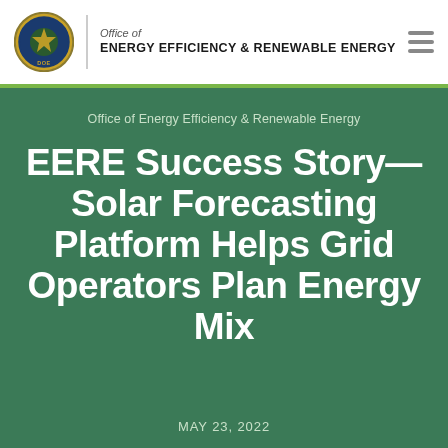Office of ENERGY EFFICIENCY & RENEWABLE ENERGY
Office of Energy Efficiency & Renewable Energy
EERE Success Story—Solar Forecasting Platform Helps Grid Operators Plan Energy Mix
MAY 23, 2022